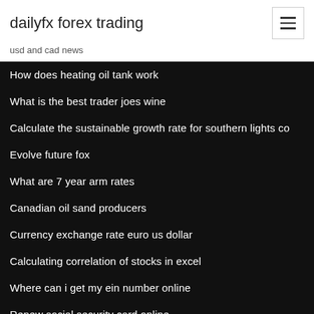dailyfx forex trading
usd and cad news
How does heating oil tank work
What is the best trader joes wine
Calculate the sustainable growth rate for southern lights co
Evolve future fox
What are 7 year arm rates
Canadian oil sand producers
Currency exchange rate euro us dollar
Calculating correlation of stocks in excel
Where can i get my ein number online
Renew social security card online